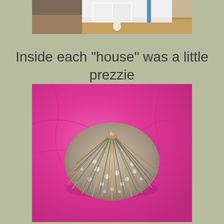[Figure (photo): Top portion of a photo showing a room interior with furniture (white and wood tones) and a blue object, partially cropped]
Inside each "house" was a little prezzie
[Figure (photo): A decorative sea urchin shell wrapped with gold, copper, and teal/blue threads or yarn, sitting on bright pink tissue paper]